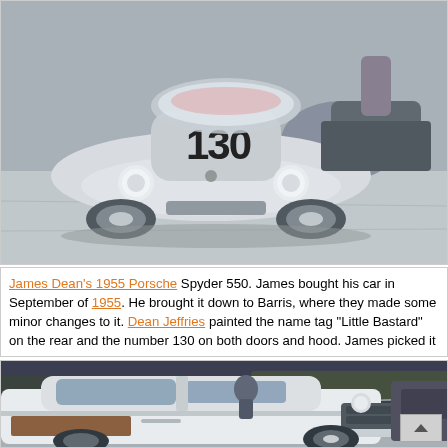[Figure (photo): James Dean's 1955 Porsche Spyder 550 race car with number 130 on hood and doors, silver/white color, photographed from front at a parking lot or racing venue]
James Dean's 1955 Porsche Spyder 550. James bought his car in September of 1955. He brought it down to Barris, where they made some minor changes to it. Dean Jeffries painted the name tag "Little Bastard" on the rear and the number 130 on both doors and hood. James picked it up from Barris on September 30, 1955. Later the same day, he crashed the car and was killed, only 24 years old.
[Figure (photo): A white 1950s American classic car, front three-quarter view, with chrome grille and details, photographed at what appears to be a car show or racing venue]